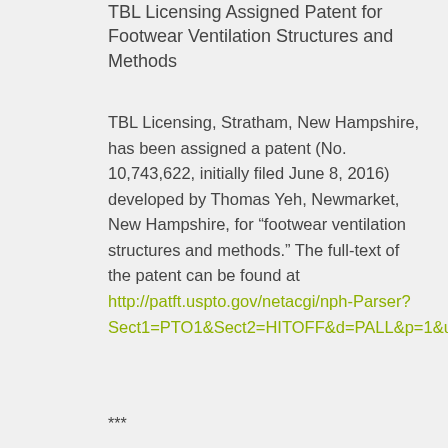TBL Licensing Assigned Patent for Footwear Ventilation Structures and Methods
TBL Licensing, Stratham, New Hampshire, has been assigned a patent (No. 10,743,622, initially filed June 8, 2016) developed by Thomas Yeh, Newmarket, New Hampshire, for “footwear ventilation structures and methods.” The full-text of the patent can be found at http://patft.uspto.gov/netacgi/nph-Parser?Sect1=PTO1&Sect2=HITOFF&d=PALL&p=1&u=%2Fnetahtml%2FPTO%2Fsrchnum.htm&r=1&f=G&l=50&s1=10,743,622.PN.&OS=PN/10,743,622&RS=PN/10,743,622
***